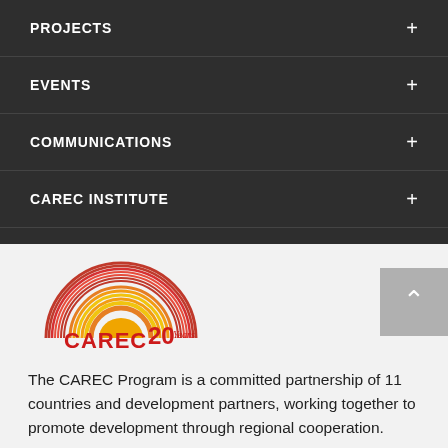PROJECTS +
EVENTS +
COMMUNICATIONS +
CAREC INSTITUTE +
[Figure (logo): CAREC 20 Years - Central Asia Regional Economic Cooperation Program logo with rainbow arc]
The CAREC Program is a committed partnership of 11 countries and development partners, working together to promote development through regional cooperation. Learn more ...
[Figure (illustration): Social media icons row: Facebook (dark blue), Twitter (light blue), another red/pink circle, LinkedIn (blue)]